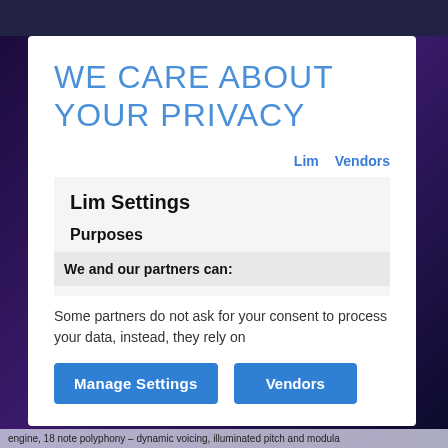WE CARE ABOUT YOUR PRIVACY
Lim   Vendors
Lim Settings
Purposes
We and our partners can:
Some partners do not ask for your consent to process your data, instead, they rely on
Manage Settings   Vendors
engine, 18 note polyphony – dynamic voicing, illuminated pitch and modula